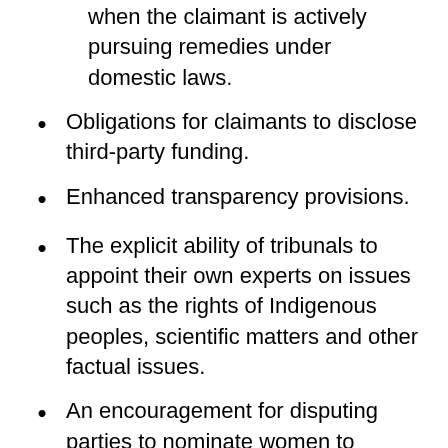when the claimant is actively pursuing remedies under domestic laws.
Obligations for claimants to disclose third-party funding.
Enhanced transparency provisions.
The explicit ability of tribunals to appoint their own experts on issues such as the rights of Indigenous peoples, scientific matters and other factual issues.
An encouragement for disputing parties to nominate women to tribunals.
An arbitrator code of conduct to prevent conflicts of interest and ensure that they